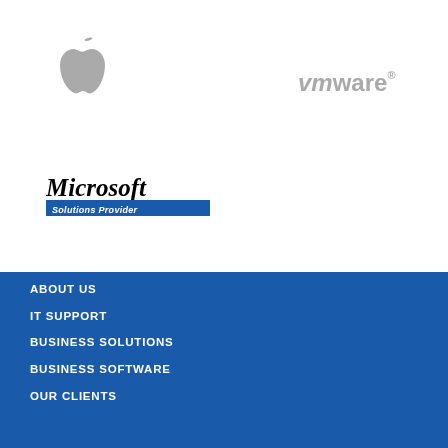[Figure (logo): Apple logo in grey]
[Figure (logo): VMware logo in grey text]
[Figure (logo): Microsoft Solutions Provider badge logo]
ABOUT US
IT SUPPORT
BUSINESS SOLUTIONS
BUSINESS SOFTWARE
OUR CLIENTS